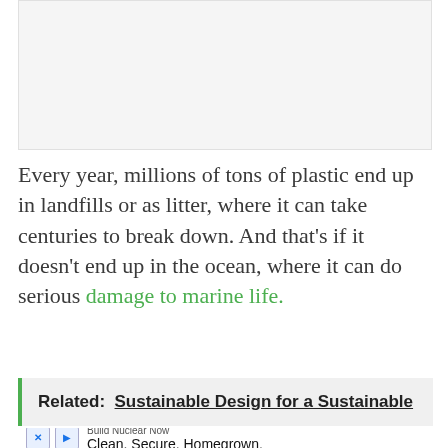[Figure (photo): Image placeholder area at top of page, light gray background]
Every year, millions of tons of plastic end up in landfills or as litter, where it can take centuries to break down. And that’s if it doesn’t end up in the ocean, where it can do serious damage to marine life.
Related: Sustainable Design for a Sustainable